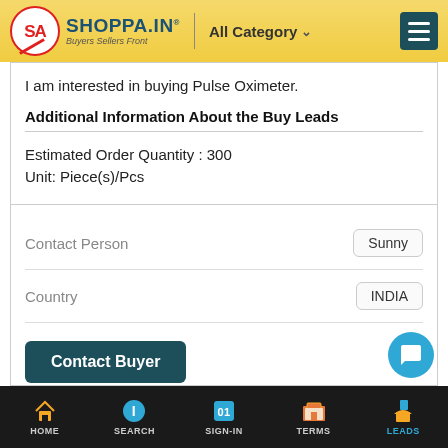SHOPPA.IN - Buyers Sellers Front | All Category
I am interested in buying Pulse Oximeter.
Additional Information About the Buy Leads
Estimated Order Quantity : 300
Unit: Piece(s)/Pcs
| Field | Value |
| --- | --- |
| Contact Person | Sunny |
| Country | INDIA |
Contact Buyer
HOME   SEARCH   SIGN-IN   TERMS   LEADS